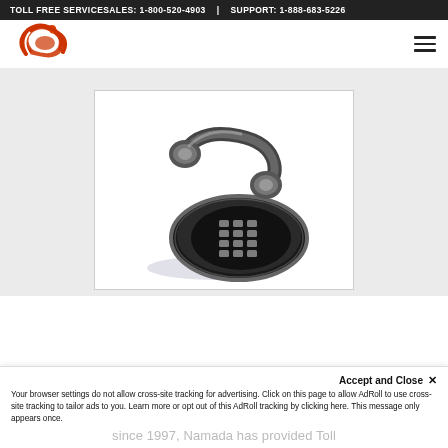TOLL FREE SERVICESALES: 1-800-520-4903  |  SUPPORT: 1-888-683-5226
[Figure (logo): Company logo: a stylized red/orange human figure leaning left with a swoosh, in red-orange on white background]
[Figure (photo): 3D rendered image of a classic telephone handset lying on top of a round dial pad, in black and grey with shadow, on white background]
Accept and Close ×
Your browser settings do not allow cross-site tracking for advertising. Click on this page to allow AdRoll to use cross-site tracking to tailor ads to you. Learn more or opt out of this AdRoll tracking by clicking here. This message only appears once.
since 1997, Namada has provided Toll